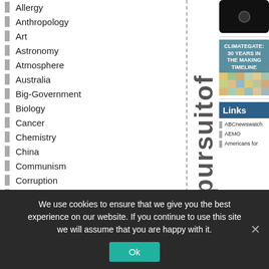Allergy
Anthropology
Art
Astronomy
Atmosphere
Australia
Big-Government
Biology
Cancer
Chemistry
China
Communism
Corruption
Cost
Country
[Figure (photo): Black smartphone/iPhone viewed from back]
[Figure (infographic): Climategate: 30 Years in the Making Timeline book/poster cover with colorful timeline grid]
Links
ABCnewswatch
AEMO
Americans for
We use cookies to ensure that we give you the best experience on our website. If you continue to use this site we will assume that you are happy with it.